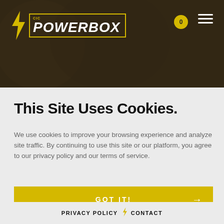[Figure (logo): CIC PowerBox logo with yellow lightning bolt, yellow bordered box containing 'CIC' in small text above 'POWERBOX' in large white italic bold text]
This Site Uses Cookies.
We use cookies to improve your browsing experience and analyze site traffic. By continuing to use this site or our platform, you agree to our privacy policy and our terms of service.
GOT IT! →
PRIVACY POLICY ⚡ CONTACT